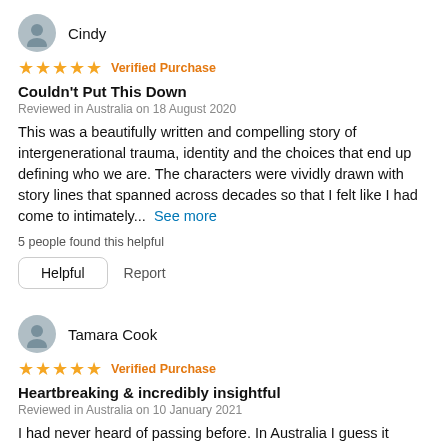Cindy
★★★★★ Verified Purchase
Couldn't Put This Down
Reviewed in Australia on 18 August 2020
This was a beautifully written and compelling story of intergenerational trauma, identity and the choices that end up defining who we are. The characters were vividly drawn with story lines that spanned across decades so that I felt like I had come to intimately... See more
5 people found this helpful
Helpful   Report
Tamara Cook
★★★★★ Verified Purchase
Heartbreaking & incredibly insightful
Reviewed in Australia on 10 January 2021
I had never heard of passing before. In Australia I guess it happens but it's not the same as the states. I learned so much about intergenerational health, the forecasts, race and how...